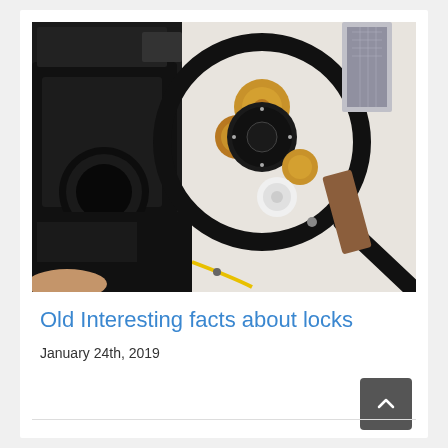[Figure (photo): Disassembled mechanical lock/camera parts laid out on a white surface with a magnifying glass held over them, showing gears, sprockets, and mechanical components in black and gold tones]
Old Interesting facts about locks
January 24th, 2019